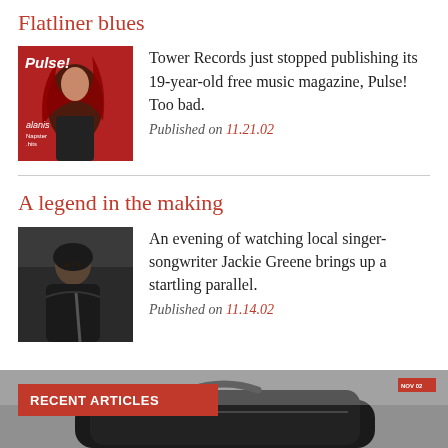Flatliner blues
[Figure (photo): Cover of Pulse! magazine featuring Alanis Morissette with red background]
Tower Records just stopped publishing its 19-year-old free music magazine, Pulse! Too bad.
Published on 11.21.02
A legend in the making
[Figure (photo): Black and white photo of local singer-songwriter Jackie Greene]
An evening of watching local singer-songwriter Jackie Greene brings up a startling parallel.
Published on 11.14.02
[Figure (photo): Bottom banner showing a guitar case/bag with a red RECENT ARTICLES label overlay]